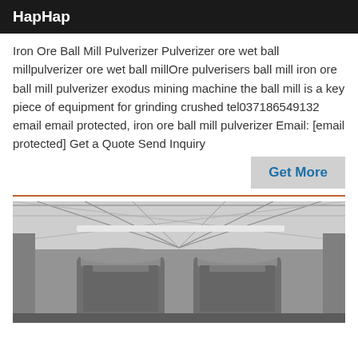HapHap
Iron Ore Ball Mill Pulverizer Pulverizer ore wet ball millpulverizer ore wet ball millOre pulverisers ball mill iron ore ball mill pulverizer exodus mining machine the ball mill is a key piece of equipment for grinding crushed tel037186549132 email email protected, iron ore ball mill pulverizer Email: [email protected] Get a Quote Send Inquiry
Get More
[Figure (photo): Black and white photo of industrial mill equipment inside a large warehouse/factory building with metal roof trusses. Two large cylindrical ball mill machines visible in the foreground.]